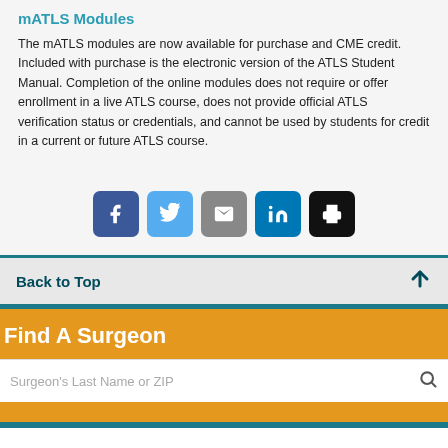mATLS Modules
The mATLS modules are now available for purchase and CME credit. Included with purchase is the electronic version of the ATLS Student Manual. Completion of the online modules does not require or offer enrollment in a live ATLS course, does not provide official ATLS verification status or credentials, and cannot be used by students for credit in a current or future ATLS course.
[Figure (infographic): Social share buttons: Facebook, Twitter, Email, LinkedIn, Print]
Back to Top
Find A Surgeon
Surgeon's Last Name or ZIP